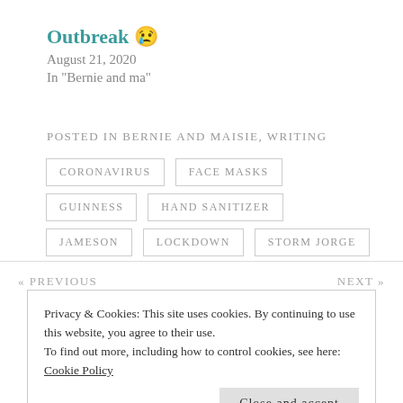Outbreak 😢
August 21, 2020
In "Bernie and ma"
POSTED IN BERNIE AND MAISIE, WRITING
CORONAVIRUS
FACE MASKS
GUINNESS
HAND SANITIZER
JAMESON
LOCKDOWN
STORM JORGE
« PREVIOUS
NEXT »
Privacy & Cookies: This site uses cookies. By continuing to use this website, you agree to their use.
To find out more, including how to control cookies, see here: Cookie Policy
Close and accept